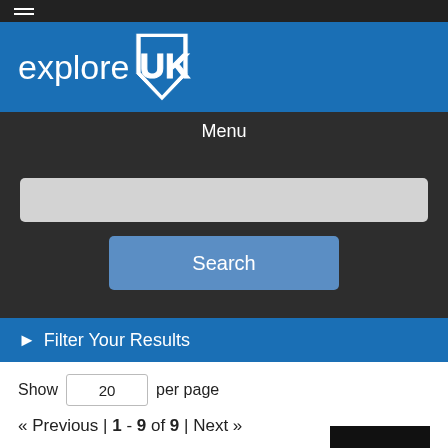exploreUK - University of Kentucky Libraries
Menu
[Figure (screenshot): Search input field (empty) with a blue Search button below it]
▶ Filter Your Results
Show 20 per page
« Previous | 1 - 9 of 9 | Next »
1.